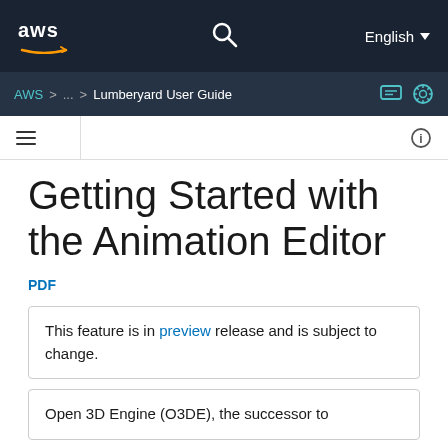AWS | Lumberyard User Guide | English
Getting Started with the Animation Editor
PDF
This feature is in preview release and is subject to change.
Open 3D Engine (O3DE), the successor to